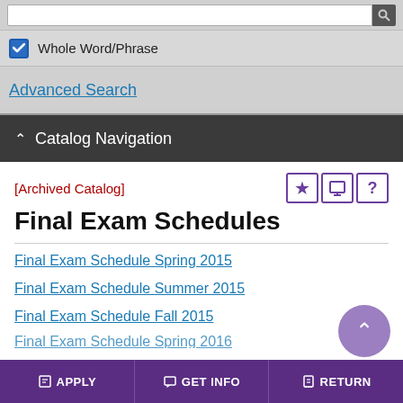[Figure (screenshot): Search input bar with dark search icon on right]
Whole Word/Phrase
Advanced Search
Catalog Navigation
[Archived Catalog]
Final Exam Schedules
Final Exam Schedule Spring 2015
Final Exam Schedule Summer 2015
Final Exam Schedule Fall 2015
APPLY   GET INFO   RETURN